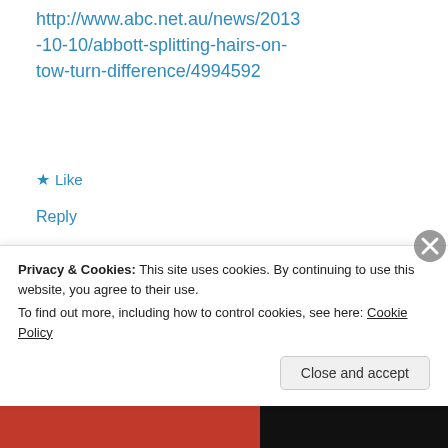http://www.abc.net.au/news/2013-10-10/abbott-splitting-hairs-on-tow-turn-difference/4994592
★ Like
Reply
John
January 12, 2014 at 1:59 pm
I will probably cop some flack for this but I actually agree with roughly 80% of
Privacy & Cookies: This site uses cookies. By continuing to use this website, you agree to their use.
To find out more, including how to control cookies, see here: Cookie Policy
Close and accept